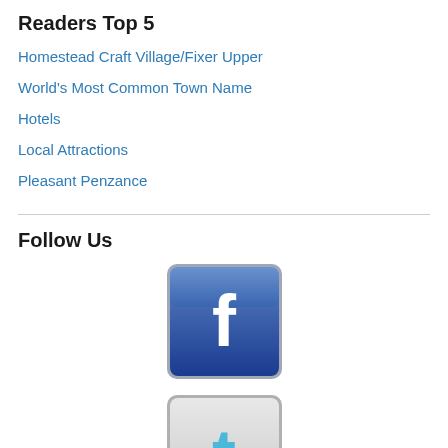Readers Top 5
Homestead Craft Village/Fixer Upper
World's Most Common Town Name
Hotels
Local Attractions
Pleasant Penzance
Follow Us
[Figure (logo): Facebook icon - blue square with white 'f' letter]
[Figure (logo): Twitter icon - light gray square with cyan 't' letter]
[Figure (logo): RSS feed icon - orange square with white wifi/signal arcs]